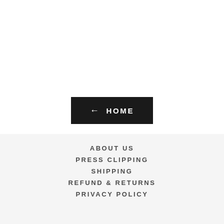← HOME
ABOUT US
PRESS CLIPPING
SHIPPING
REFUND & RETURNS
PRIVACY POLICY